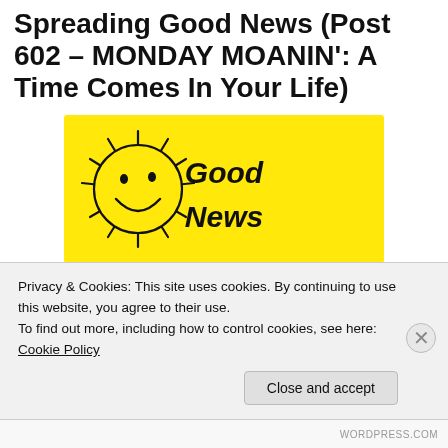Spreading Good News (Post 602 – MONDAY MOANIN': A Time Comes In Your Life)
[Figure (illustration): Yellow rectangular banner with a cartoon sunshine (smiley face sun with rays) on the left side and the text 'Good News' in black handwritten-style font on the right side.]
The goal of Spreading Good News is for readers to:
Privacy & Cookies: This site uses cookies. By continuing to use this website, you agree to their use. To find out more, including how to control cookies, see here: Cookie Policy
Close and accept